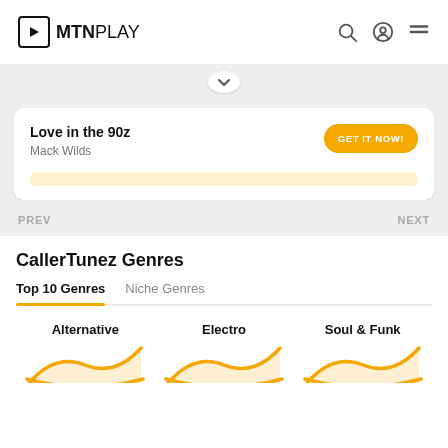MTN PLAY
Love in the 90z
Mack Wilds
GET IT NOW!
PREV     NEXT
CallerTunez Genres
Top 10 Genres   Niche Genres
Alternative   Electro   Soul & Funk